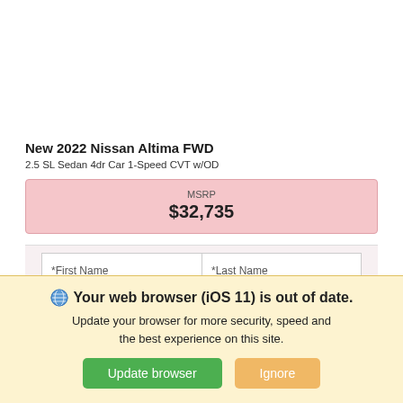New 2022 Nissan Altima FWD
2.5 SL Sedan 4dr Car 1-Speed CVT w/OD
MSRP
$32,735
[Figure (screenshot): Web form with fields: *First Name, *Last Name, *Email, Phone, Location Closest to You]
Your web browser (iOS 11) is out of date. Update your browser for more security, speed and the best experience on this site.
Update browser   Ignore